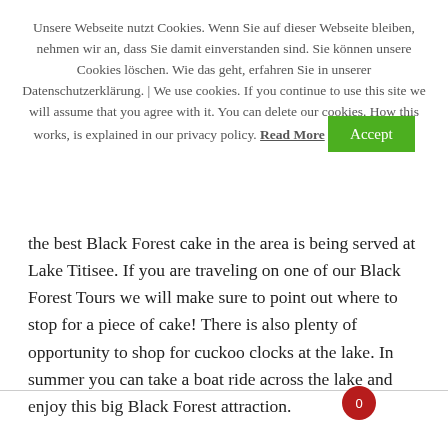Unsere Webseite nutzt Cookies. Wenn Sie auf dieser Webseite bleiben, nehmen wir an, dass Sie damit einverstanden sind. Sie können unsere Cookies löschen. Wie das geht, erfahren Sie in unserer Datenschutzerklärung. | We use cookies. If you continue to use this site we will assume that you agree with it. You can delete our cookies. How this works, is explained in our privacy policy. Read More [Accept]
the best Black Forest cake in the area is being served at Lake Titisee. If you are traveling on one of our Black Forest Tours we will make sure to point out where to stop for a piece of cake! There is also plenty of opportunity to shop for cuckoo clocks at the lake. In summer you can take a boat ride across the lake and enjoy this big Black Forest attraction.